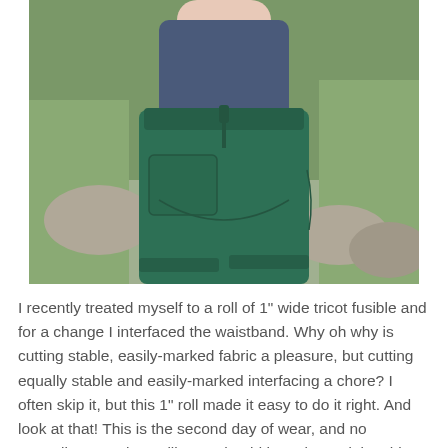[Figure (photo): Back view of a person wearing dark green wide-leg trousers with patch pockets and a navy blue top, standing outdoors with greenery and rocks in the background.]
I recently treated myself to a roll of 1" wide tricot fusible and for a change I interfaced the waistband. Why oh why is cutting stable, easily-marked fabric a pleasure, but cutting equally stable and easily-marked interfacing a chore? I often skip it, but this 1" roll made it easy to do it right. And look at that! This is the second day of wear, and no crumpling! It's almost like... I should have been doing this the whole time!